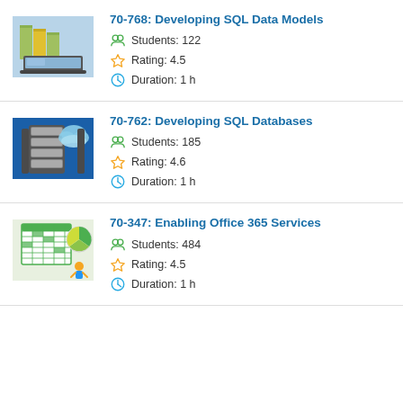[Figure (illustration): Course thumbnail for 70-768: laptop and binders on desk]
70-768: Developing SQL Data Models
Students: 122
Rating: 4.5
Duration: 1 h
[Figure (illustration): Course thumbnail for 70-762: server rack with cloud]
70-762: Developing SQL Databases
Students: 185
Rating: 4.6
Duration: 1 h
[Figure (illustration): Course thumbnail for 70-347: spreadsheet and support person]
70-347: Enabling Office 365 Services
Students: 484
Rating: 4.5
Duration: 1 h